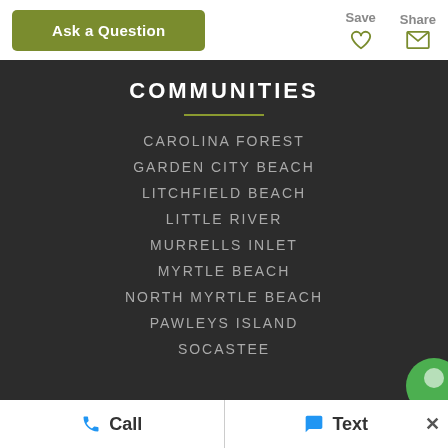Ask a Question
Save
Share
COMMUNITIES
CAROLINA FOREST
GARDEN CITY BEACH
LITCHFIELD BEACH
LITTLE RIVER
MURRELLS INLET
MYRTLE BEACH
NORTH MYRTLE BEACH
PAWLEYS ISLAND
SOCASTEE
Call
Text